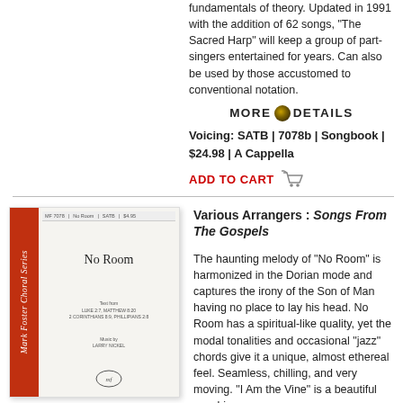fundamentals of theory. Updated in 1991 with the addition of 62 songs, "The Sacred Harp" will keep a group of part-singers entertained for years. Can also be used by those accustomed to conventional notation.
MORE DETAILS
Voicing: SATB | 7078b | Songbook | $24.98 | A Cappella
ADD TO CART
[Figure (photo): Book cover of 'No Room' from Mark Foster Choral Series, with red spine and gray/white main cover showing title 'No Room']
Various Arrangers : Songs From The Gospels
The haunting melody of "No Room" is harmonized in the Dorian mode and captures the irony of the Son of Man having no place to lay his head. No Room has a spiritual-like quality, yet the modal tonalities and occasional "jazz" chords give it a unique, almost ethereal feel. Seamless, chilling, and very moving. "I Am the Vine" is a beautiful worship